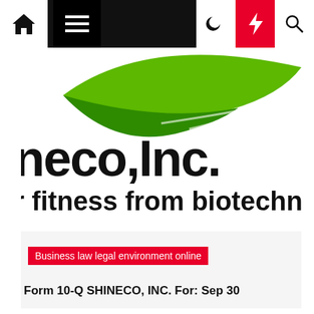[Figure (screenshot): Website navigation bar with home icon, hamburger menu, moon icon, lightning bolt (red background), and search icon]
[Figure (logo): Shineco, Inc. company logo with green swoosh shape and text reading 'neco, Inc.' and 'r fitness from biotechnology']
Business law legal environment online
Form 10-Q SHINECO, INC. For: Sep 30